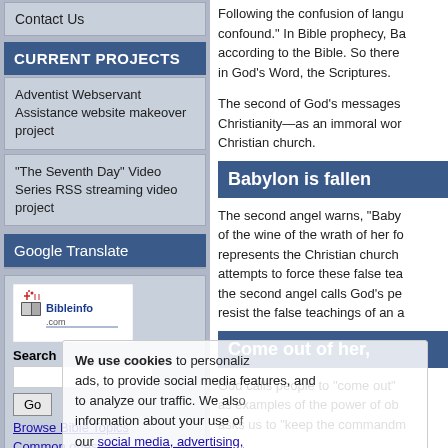Contact Us
CURRENT PROJECTS
Adventist Webservant Assistance website makeover project
"The Seventh Day" Video Series RSS streaming video project
Google Translate
[Figure (logo): Bibleinfo.com logo with open book and cross icon]
Search
Browse Bible Topics
Common questions
We use cookies to personalize ads, to provide social media features, and to analyze our traffic. We also share information about your use of our site with our social media, advertising, and analytics partners.
Following the confusion of langu confound." In Bible prophecy, Ba according to the Bible. So there in God's Word, the Scriptures.
The second of God's messages Christianity—as an immoral wor Christian church.
Babylon is fallen
The second angel warns, "Baby of the wine of the wrath of her fo represents the Christian church attempts to force these false tea the second angel calls God's pe resist the false teachings of an a
Come out of her,
God calls people to "come out" as examples of the power of ob asks us to "keep the commandm
Many today are choosing a fo